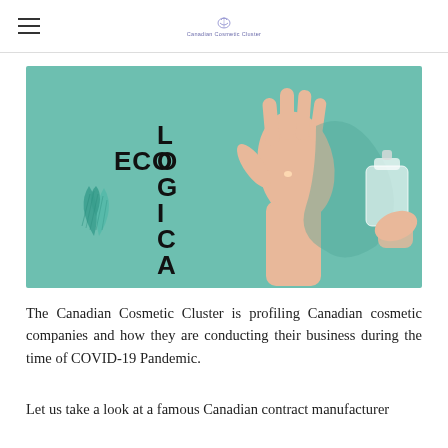Canadian Cosmetic Cluster
[Figure (photo): Promotional image with teal background showing a hand sanitizer being dispensed onto an open palm, with the word ECO-LOGICAL arranged vertically/horizontally with a teal leaf illustration on the left side]
The Canadian Cosmetic Cluster is profiling Canadian cosmetic companies and how they are conducting their business during the time of COVID-19 Pandemic.
Let us take a look at a famous Canadian contract manufacturer